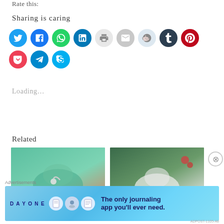Rate this:
Sharing is caring
[Figure (infographic): Row of social media sharing icon buttons: Twitter (blue), Facebook (blue), WhatsApp (green), LinkedIn (dark blue), Print (light gray), Email (gray), Reddit (light blue), Tumblr (dark navy), Pinterest (red), Pocket (red), Telegram (blue), Skype (blue)]
Loading...
Related
[Figure (photo): Doctor in teal scrubs with stethoscope, arms crossed]
[Figure (photo): Woman in white top outdoors with roses in background]
Advertisements
[Figure (screenshot): Day One journaling app advertisement banner with text: The only journaling app you'll ever need.]